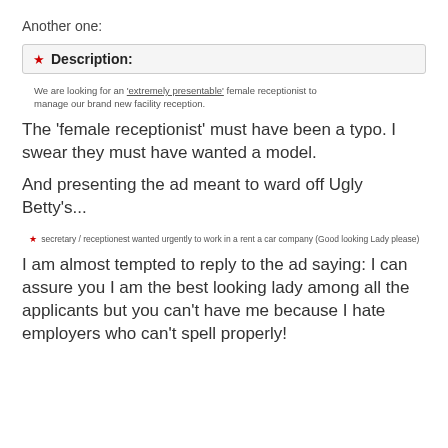Another one:
[Figure (screenshot): Job listing description box with red star and bold 'Description:' header, text reading: We are looking for an 'extremely presentable' female receptionist to manage our brand new facility reception.]
The 'female receptionist' must have been a typo. I swear they must have wanted a model.
And presenting the ad meant to ward off Ugly Betty's...
[Figure (screenshot): Small ad text with red star: secretary / receptionest wanted urgently to work in a rent a car company (Good looking Lady please)]
I am almost tempted to reply to the ad saying: I can assure you I am the best looking lady among all the applicants but you can't have me because I hate employers who can't spell properly!